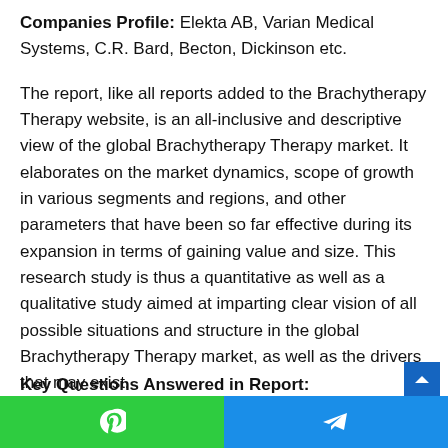Companies Profile: Elekta AB, Varian Medical Systems, C.R. Bard, Becton, Dickinson etc.
The report, like all reports added to the Brachytherapy Therapy website, is an all-inclusive and descriptive view of the global Brachytherapy Therapy market. It elaborates on the market dynamics, scope of growth in various segments and regions, and other parameters that have been so far effective during its expansion in terms of gaining value and size. This research study is thus a quantitative as well as a qualitative study aimed at imparting clear vision of all possible situations and structure in the global Brachytherapy Therapy market, as well as the drivers that may exist.
Key Questions Answered in Report: